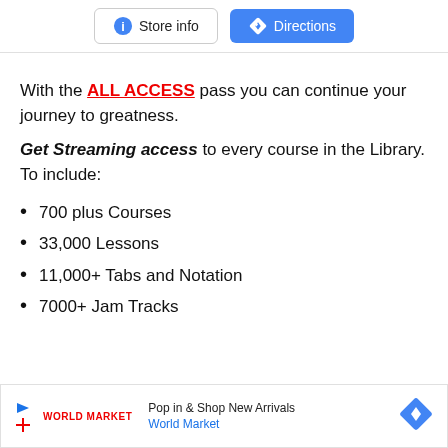[Figure (screenshot): Two buttons: 'Store info' with an info icon and 'Directions' with a navigation icon on blue background]
With the ALL ACCESS pass you can continue your journey to greatness.
Get Streaming access to every course in the Library. To include:
700 plus Courses
33,000 Lessons
11,000+ Tabs and Notation
7000+ Jam Tracks
[Figure (screenshot): Advertisement banner for World Market: 'Pop in & Shop New Arrivals' with World Market logo and navigation icon]